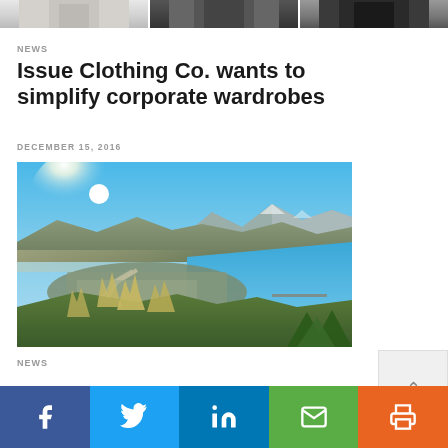[Figure (photo): Three cropped clothing/shirt images at top of page, partially visible]
NEWS
Issue Clothing Co. wants to simplify corporate wardrobes
DECEMBER 15, 2016
[Figure (photo): Aerial landscape photo of a coastal town with mountains, bay, and road]
NEWS
[Figure (other): Social share bar with Facebook, Twitter, LinkedIn, Email, and Print buttons]